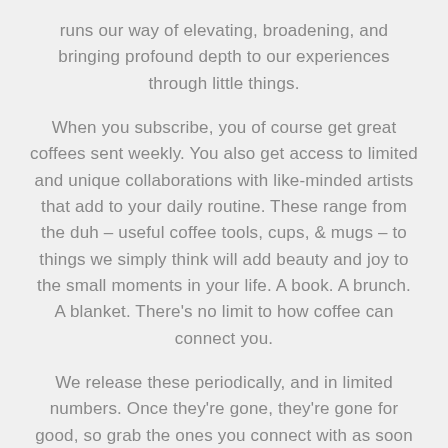runs our way of elevating, broadening, and bringing profound depth to our experiences through little things.
When you subscribe, you of course get great coffees sent weekly. You also get access to limited and unique collaborations with like-minded artists that add to your daily routine. These range from the duh – useful coffee tools, cups, & mugs – to things we simply think will add beauty and joy to the small moments in your life. A book. A brunch. A blanket. There's no limit to how coffee can connect you.
We release these periodically, and in limited numbers. Once they're gone, they're gone for good, so grab the ones you connect with as soon as they're released.